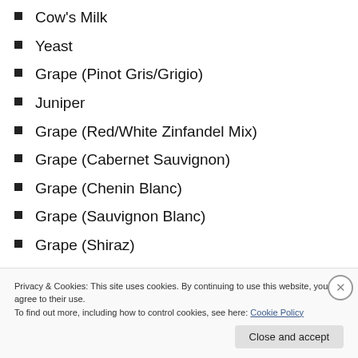Cow's Milk
Yeast
Grape (Pinot Gris/Grigio)
Juniper
Grape (Red/White Zinfandel Mix)
Grape (Cabernet Sauvignon)
Grape (Chenin Blanc)
Grape (Sauvignon Blanc)
Grape (Shiraz)
Grape (Riesling)
Guarana
Privacy & Cookies: This site uses cookies. By continuing to use this website, you agree to their use. To find out more, including how to control cookies, see here: Cookie Policy